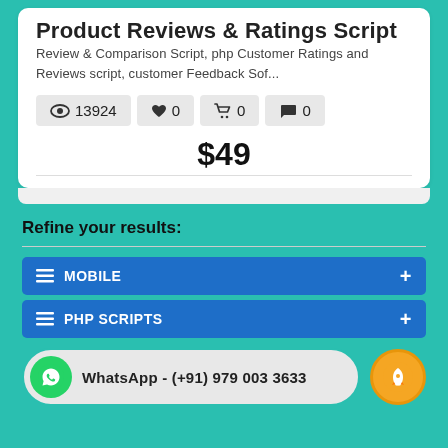Product Reviews & Ratings Script
Review & Comparison Script, php Customer Ratings and Reviews script, customer Feedback Sof...
👁 13924   ♥ 0   🛒 0   💬 0
$49
Refine your results:
MOBILE
PHP SCRIPTS
WhatsApp - (+91) 979 003 3633